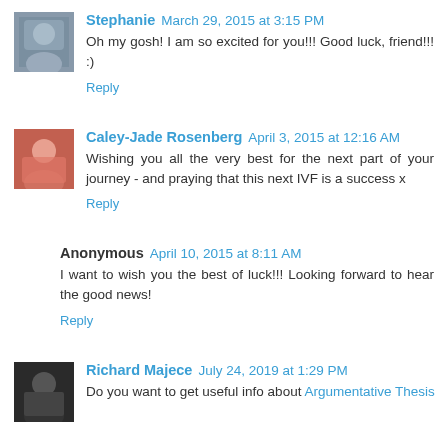Stephanie  March 29, 2015 at 3:15 PM
Oh my gosh! I am so excited for you!!! Good luck, friend!!! :)
Reply
Caley-Jade Rosenberg  April 3, 2015 at 12:16 AM
Wishing you all the very best for the next part of your journey - and praying that this next IVF is a success x
Reply
Anonymous  April 10, 2015 at 8:11 AM
I want to wish you the best of luck!!! Looking forward to hear the good news!
Reply
Richard Majece  July 24, 2019 at 1:29 PM
Do you want to get useful info about Argumentative Thesis